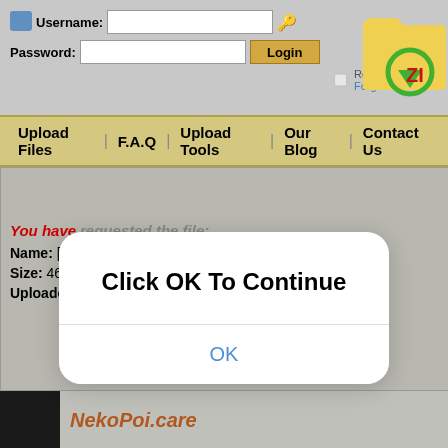Username: [input] Password: [input] Login | Remember Me | Forgot Password?
[Figure (logo): WinZip-style logo with folder icon and 'ZI' text in red/yellow/green]
Upload Files | F.A.Q | Upload Tools | Our Blog | Contact Us
[Figure (screenshot): Modal dialog box with white background and rounded corners containing 'Click OK To Continue' title and 'OK' blue button]
You have requested the file:
Name: [NekoPoi]_Euphoria_-_01_[360P][nekopoi.care].mp4
Size: 46.43 MB
Uploaded: 03-04-2019 15:33
[Figure (logo): NekoPoi.care banner with dark thumbnail image and orange italic text]